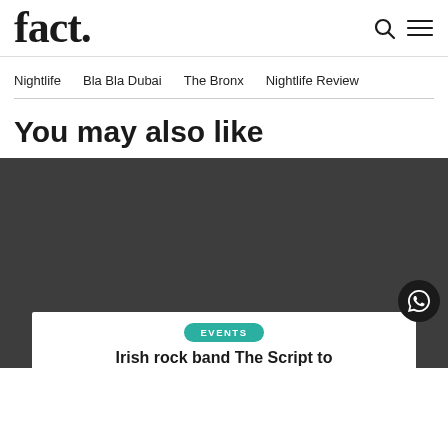fact.
Nightlife
Bla Bla Dubai
The Bronx
Nightlife Review
You may also like
[Figure (other): Dark grey image card with white overlay at bottom. Shows an 'EVENTS' teal badge/pill and partial article title 'Irish rock band The Script to...' A WhatsApp chat button is in the bottom-right corner.]